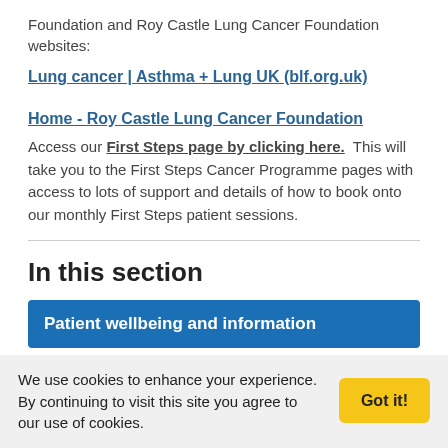Foundation and Roy Castle Lung Cancer Foundation websites:
Lung cancer | Asthma + Lung UK (blf.org.uk)
Home - Roy Castle Lung Cancer Foundation
Access our First Steps page by clicking here.  This will take you to the First Steps Cancer Programme pages with access to lots of support and details of how to book onto our monthly First Steps patient sessions.
In this section
Patient wellbeing and information
We use cookies to enhance your experience. By continuing to visit this site you agree to our use of cookies.